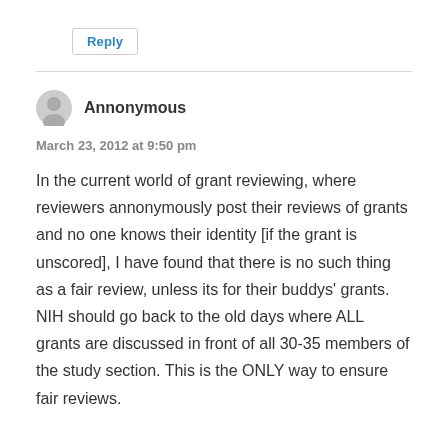Reply
Annonymous
March 23, 2012 at 9:50 pm
In the current world of grant reviewing, where reviewers annonymously post their reviews of grants and no one knows their identity [if the grant is unscored], I have found that there is no such thing as a fair review, unless its for their buddys' grants. NIH should go back to the old days where ALL grants are discussed in front of all 30-35 members of the study section. This is the ONLY way to ensure fair reviews.